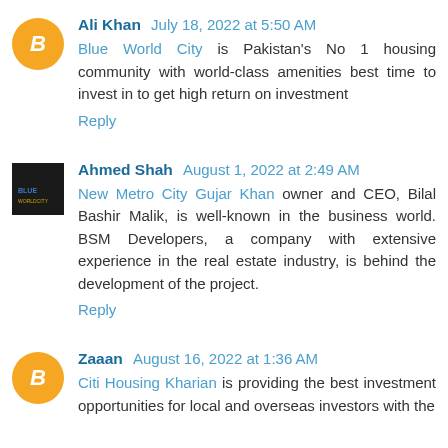Ali Khan July 18, 2022 at 5:50 AM
Blue World City is Pakistan's No 1 housing community with world-class amenities best time to invest in to get high return on investment
Reply
Ahmed Shah August 1, 2022 at 2:49 AM
New Metro City Gujar Khan owner and CEO, Bilal Bashir Malik, is well-known in the business world. BSM Developers, a company with extensive experience in the real estate industry, is behind the development of the project.
Reply
Zaaan August 16, 2022 at 1:36 AM
Citi Housing Kharian is providing the best investment opportunities for local and overseas investors with the